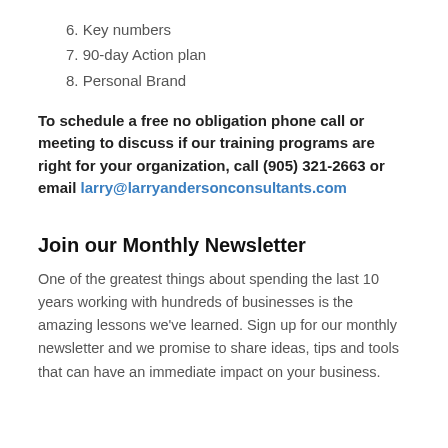6. Key numbers
7. 90-day Action plan
8. Personal Brand
To schedule a free no obligation phone call or meeting to discuss if our training programs are right for your organization, call (905) 321-2663 or email larry@larryandersonconsultants.com
Join our Monthly Newsletter
One of the greatest things about spending the last 10 years working with hundreds of businesses is the amazing lessons we've learned. Sign up for our monthly newsletter and we promise to share ideas, tips and tools that can have an immediate impact on your business.